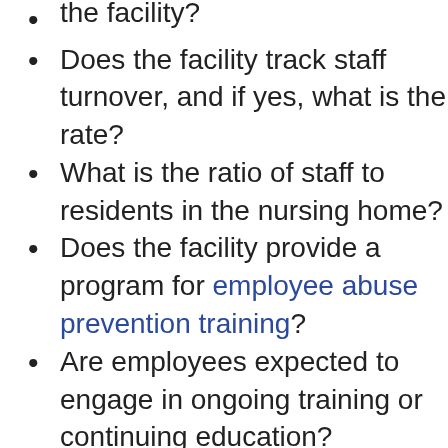the facility?
Does the facility track staff turnover, and if yes, what is the rate?
What is the ratio of staff to residents in the nursing home?
Does the facility provide a program for employee abuse prevention training?
Are employees expected to engage in ongoing training or continuing education?
Have there been any complaints